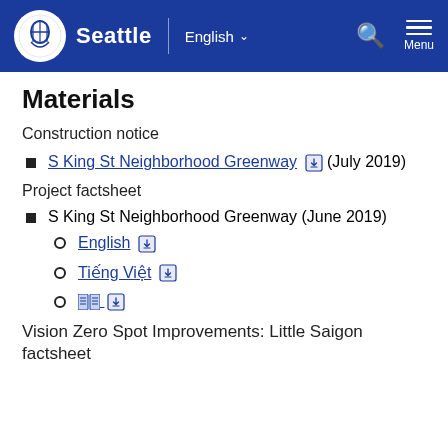Seattle | English ∨  [search] Menu
Materials
Construction notice
S King St Neighborhood Greenway [download] (July 2019)
Project factsheet
S King St Neighborhood Greenway (June 2019)
English [download]
Tiếng Việt [download]
[Korean text] [download]
Vision Zero Spot Improvements: Little Saigon factsheet (June 2019)